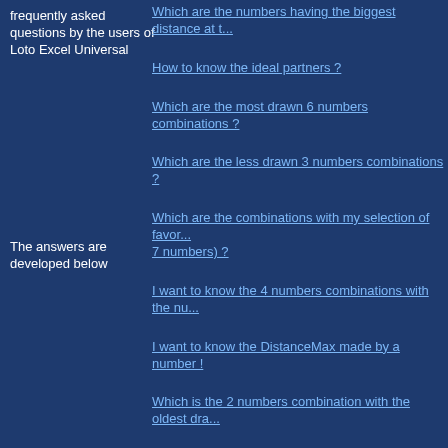frequently asked questions by the users of Loto Excel Universal
Which are the numbers having the biggest distance at t...
How to know the ideal partners ?
Which are the most drawn 6 numbers combinations ?
Which are the less drawn 3 numbers combinations ?
The answers are developed below
Which are the combinations with my selection of favor... 7 numbers) ?
I want to know the 4 numbers combinations with the nu...
I want to know the DistanceMax made by a number !
Which is the 2 numbers combination with the oldest dra...
How to display the drawn historic as well as the summa... combination ?
Can I choose not to take into account the bonus number...